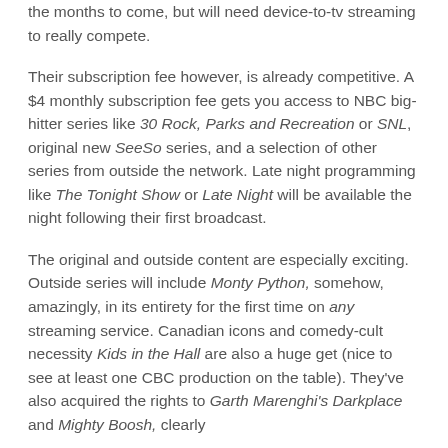the months to come, but will need device-to-tv streaming to really compete.
Their subscription fee however, is already competitive. A $4 monthly subscription fee gets you access to NBC big-hitter series like 30 Rock, Parks and Recreation or SNL, original new SeeSo series, and a selection of other series from outside the network. Late night programming like The Tonight Show or Late Night will be available the night following their first broadcast.
The original and outside content are especially exciting. Outside series will include Monty Python, somehow, amazingly, in its entirety for the first time on any streaming service. Canadian icons and comedy-cult necessity Kids in the Hall are also a huge get (nice to see at least one CBC production on the table). They've also acquired the rights to Garth Marenghi's Darkplace and Mighty Boosh, clearly